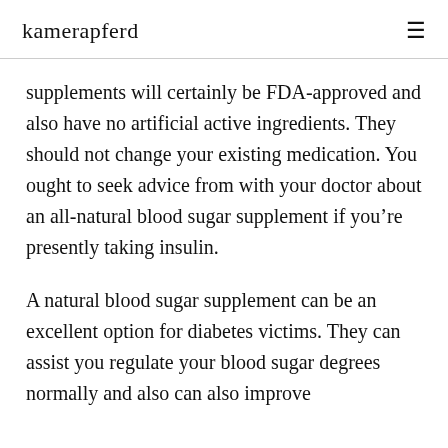kamerapferd
supplements will certainly be FDA-approved and also have no artificial active ingredients. They should not change your existing medication. You ought to seek advice from with your doctor about an all-natural blood sugar supplement if you’re presently taking insulin.
A natural blood sugar supplement can be an excellent option for diabetes victims. They can assist you regulate your blood sugar degrees normally and also can also improve